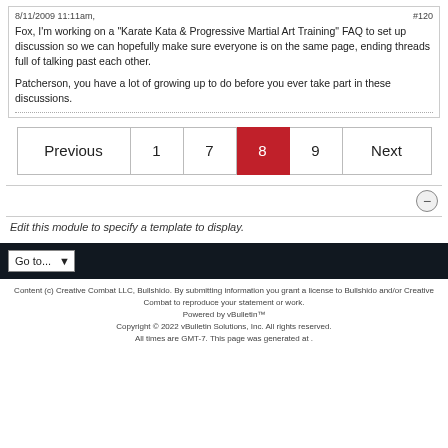8/11/2009 11:11am,
#120
Fox, I'm working on a "Karate Kata & Progressive Martial Art Training" FAQ to set up discussion so we can hopefully make sure everyone is on the same page, ending threads full of talking past each other.

Patcherson, you have a lot of growing up to do before you ever take part in these discussions.
Previous  1  7  8  9  Next
Edit this module to specify a template to display.
Go to...
Content (c) Creative Combat LLC, Bullshido. By submitting information you grant a license to Bullshido and/or Creative Combat to reproduce your statement or work. Powered by vBulletin™ Copyright © 2022 vBulletin Solutions, Inc. All rights reserved. All times are GMT-7. This page was generated at .